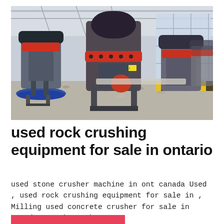[Figure (photo): Industrial facility interior showing multiple large cone crusher machines with red and black coloring, mounted on stands over a gravel-covered floor, inside a warehouse with yellow-striped safety barriers and large windows.]
used rock crushing equipment for sale in ontario
used stone crusher machine in ont canada Used , used rock crushing equipment for sale in , Milling used concrete crusher for sale in canada , Rock Crushers.